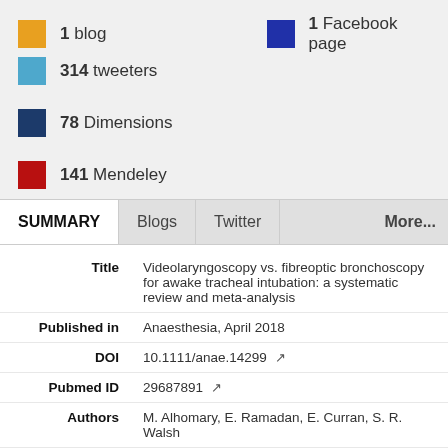1 blog
1 Facebook page
314 tweeters
78 Dimensions
141 Mendeley
SUMMARY
Blogs
Twitter
More...
| Field | Value |
| --- | --- |
| Title | Videolaryngoscopy vs. fibreoptic bronchoscopy for awake tracheal intubation: a systematic review and meta-analysis |
| Published in | Anaesthesia, April 2018 |
| DOI | 10.1111/anae.14299 |
| Pubmed ID | 29687891 |
| Authors | M. Alhomary, E. Ramadan, E. Curran, S. R. Walsh |